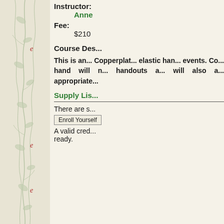[Figure (illustration): Decorative floral/botanical pattern on light green background with red letter 'e' elements scattered vertically along left panel]
Instructor:
Anne
Fee:
$210
Course Des...
This is an... Copperplat... elastic han... events. Co... hand will n... handouts a... will also a... appropriate...
Supply Lis...
There are s...
Enroll Yourself
A valid cred... ready.